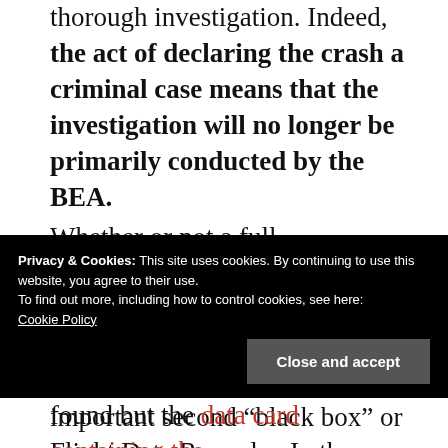thorough investigation. Indeed, the act of declaring the crash a criminal case means that the investigation will no longer be primarily conducted by the BEA.
Whether or not a full investigation by anyone can even take place has, however, been thrown into doubt with conflicting stories about the all-important second “black box” or Flight Data Recorder. In the same story where it first
Privacy & Cookies: This site uses cookies. By continuing to use this website, you agree to their use.
To find out more, including how to control cookies, see here:
Cookie Policy
found but the data card containing the